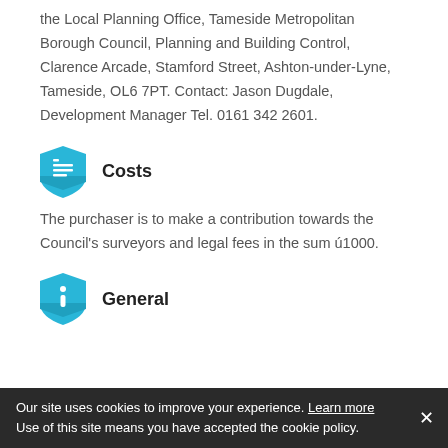the Local Planning Office, Tameside Metropolitan Borough Council, Planning and Building Control, Clarence Arcade, Stamford Street, Ashton-under-Lyne, Tameside, OL6 7PT. Contact: Jason Dugdale, Development Manager Tel. 0161 342 2601.
Costs
The purchaser is to make a contribution towards the Council's surveyors and legal fees in the sum ú1000.
General
Our site uses cookies to improve your experience. Learn more Use of this site means you have accepted the cookie policy.